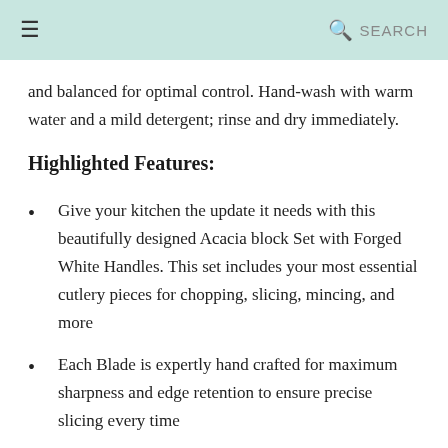☰  🔍 SEARCH
and balanced for optimal control. Hand-wash with warm water and a mild detergent; rinse and dry immediately.
Highlighted Features:
Give your kitchen the update it needs with this beautifully designed Acacia block Set with Forged White Handles. This set includes your most essential cutlery pieces for chopping, slicing, mincing, and more
Each Blade is expertly hand crafted for maximum sharpness and edge retention to ensure precise slicing every time
Each forged knife is made from high carbon stainless